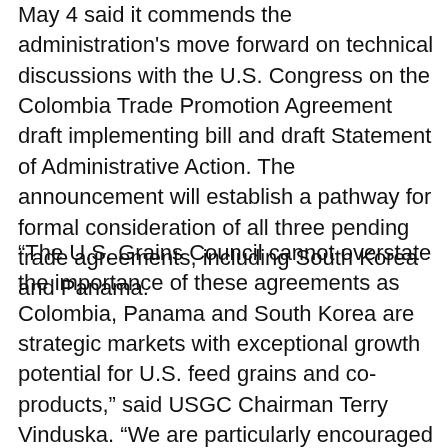May 4 said it commends the administration's move forward on technical discussions with the U.S. Congress on the Colombia Trade Promotion Agreement draft implementing bill and draft Statement of Administrative Action. The announcement will establish a pathway for formal consideration of all three pending trade agreements, including South Korea and Panama.
“The U.S. Grains Council cannot overstate the importance of these agreements as Colombia, Panama and South Korea are strategic markets with exceptional growth potential for U.S. feed grains and co-products,” said USGC Chairman Terry Vinduska. “We are particularly encouraged by the news on Colombia. This development is conducive to conclusions of other critical trade legislation, including the Trade Adjustment Assistance Act and the Andean Trade Preferences Act. Equally important, it sends a strong signal about the U.S. commitment to a robust trade agenda that enhances our credibility with